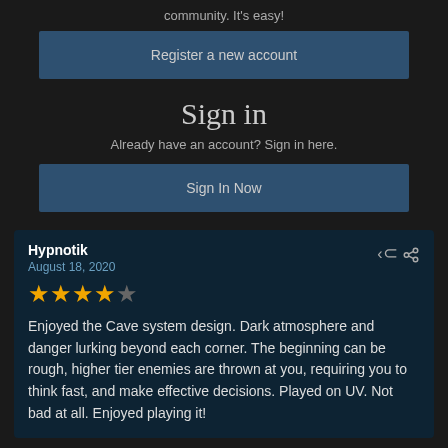community. It's easy!
Register a new account
Sign in
Already have an account? Sign in here.
Sign In Now
Hypnotik
August 18, 2020
★★★★☆
Enjoyed the Cave system design. Dark atmosphere and danger lurking beyond each corner. The beginning can be rough, higher tier enemies are thrown at you, requiring you to think fast, and make effective decisions. Played on UV. Not bad at all. Enjoyed playing it!